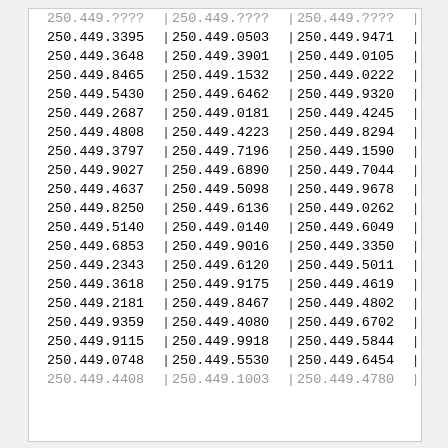| col1 | col2 | col3 |
| --- | --- | --- |
| 250.449.3395 | 250.449.0503 | 250.449.9471 |
| 250.449.3648 | 250.449.3901 | 250.449.0105 |
| 250.449.8465 | 250.449.1532 | 250.449.0222 |
| 250.449.5430 | 250.449.6462 | 250.449.9320 |
| 250.449.2687 | 250.449.0181 | 250.449.4245 |
| 250.449.4808 | 250.449.4223 | 250.449.8294 |
| 250.449.3797 | 250.449.7196 | 250.449.1590 |
| 250.449.9027 | 250.449.6890 | 250.449.7044 |
| 250.449.4637 | 250.449.5098 | 250.449.9678 |
| 250.449.8250 | 250.449.6136 | 250.449.0262 |
| 250.449.5140 | 250.449.0140 | 250.449.6049 |
| 250.449.6853 | 250.449.9016 | 250.449.3350 |
| 250.449.2343 | 250.449.6120 | 250.449.5011 |
| 250.449.3618 | 250.449.9175 | 250.449.4619 |
| 250.449.2181 | 250.449.8467 | 250.449.4802 |
| 250.449.9359 | 250.449.4080 | 250.449.6702 |
| 250.449.9115 | 250.449.9918 | 250.449.5844 |
| 250.449.0748 | 250.449.5530 | 250.449.6454 |
| 250.449.4408 | 250.449.1003 | 250.449.4780 |